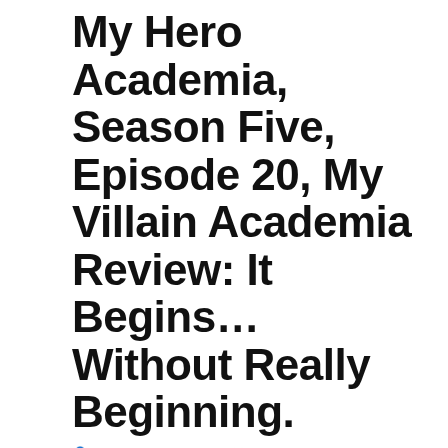My Hero Academia, Season Five, Episode 20, My Villain Academia Review: It Begins… Without Really Beginning.
thereviewmonster   Review   August 28, 2021   3 Minutes
So, the fifth season of My Hero Academia has been interesting to say the least.
The problems fans are having with the anime have been made clear by them since season four, a season I was...